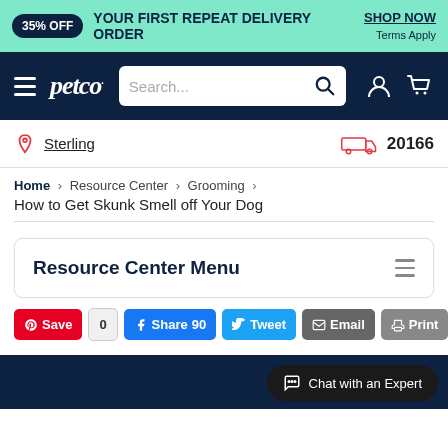35% OFF YOUR FIRST REPEAT DELIVERY ORDER SHOP NOW Terms Apply
[Figure (screenshot): Petco navigation bar with hamburger menu, Petco logo, search box, user icon, and cart icon on dark navy background]
Sterling  20166
Home > Resource Center > Grooming > How to Get Skunk Smell off Your Dog
Resource Center Menu
Save 0  Share 90  Tweet  Email  Print
[Figure (screenshot): Bottom section of Petco webpage showing dark navy image area and Chat with an Expert button]